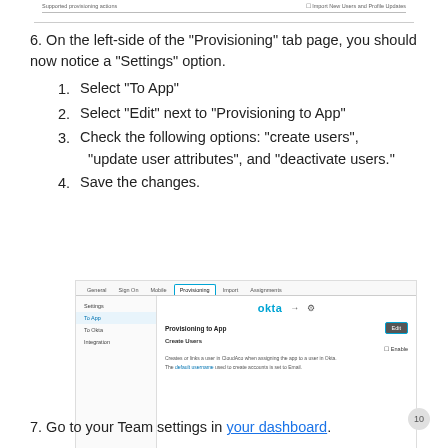[Figure (screenshot): Top cropped screenshot showing 'Supported provisioning actions' with 'Import New Users and Profile Updates' checkbox]
6. On the left-side of the "Provisioning" tab page, you should now notice a "Settings" option.
1. Select "To App"
2. Select "Edit" next to "Provisioning to App"
3. Check the following options: "create users", "update user attributes", and "deactivate users."
4. Save the changes.
[Figure (screenshot): Screenshot of Okta Provisioning tab showing Settings sidebar with To App selected, Provisioning to App section with Edit button, and Create Users option with Enable checkbox]
7. Go to your Team settings in your dashboard.